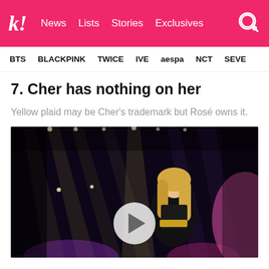koreaboo — News  Lists  Stories  Exclusives
BTS  BLACKPINK  TWICE  IVE  aespa  NCT  SEVE
7. Cher has nothing on her
Yellow plaid may be Cher's trademark but Rosé owns it.
[Figure (photo): Concert photo of a blonde female K-pop performer on a dark stage with stage lighting and a play button overlay, suggesting a video clip.]